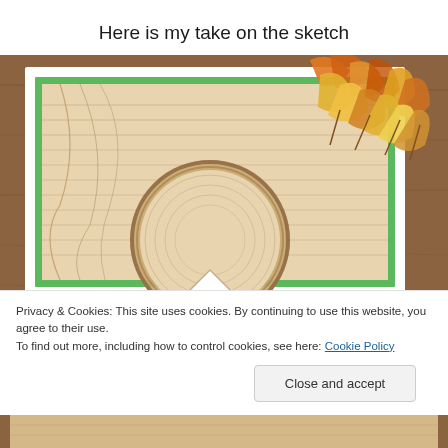Here is my take on the sketch
[Figure (photo): Handmade card with wood-grain patterned background, green border, a circular wooden wreath element, and autumn/fall leaves decoration in orange, yellow, and red tones on a wooden table surface.]
Privacy & Cookies: This site uses cookies. By continuing to use this website, you agree to their use.
To find out more, including how to control cookies, see here: Cookie Policy
Close and accept
[Figure (photo): Bottom portion of another handmade card image, partially visible.]